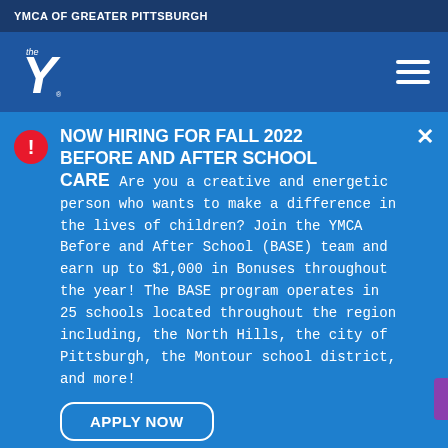YMCA OF GREATER PITTSBURGH
[Figure (logo): YMCA 'the Y' logo in white on blue navigation bar, with hamburger menu icon on right]
NOW HIRING FOR FALL 2022 BEFORE AND AFTER SCHOOL CARE   Are you a creative and energetic person who wants to make a difference in the lives of children? Join the YMCA Before and After School (BASE) team and earn up to $1,000 in Bonuses throughout the year! The BASE program operates in 25 schools located throughout the region including, the North Hills, the city of Pittsburgh, the Montour school district, and more!
APPLY NOW